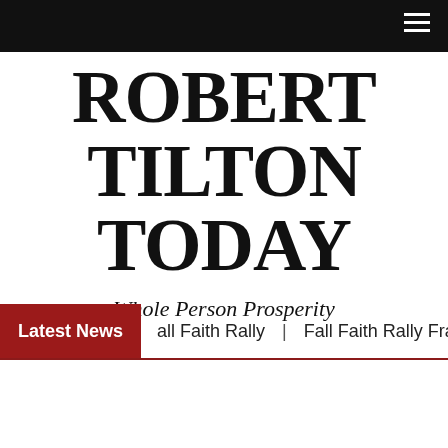Navigation bar with hamburger menu
ROBERT TILTON TODAY
Whole Person Prosperity
Latest News | all Faith Rally | Fall Faith Rally Frankfort